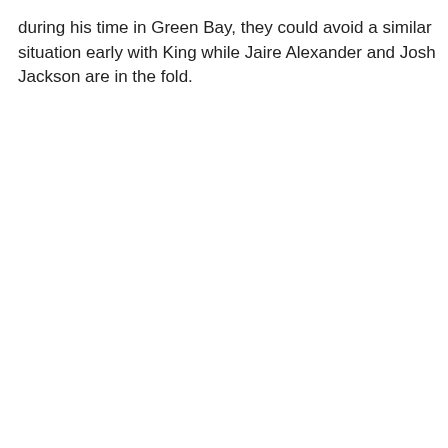during his time in Green Bay, they could avoid a similar situation early with King while Jaire Alexander and Josh Jackson are in the fold.